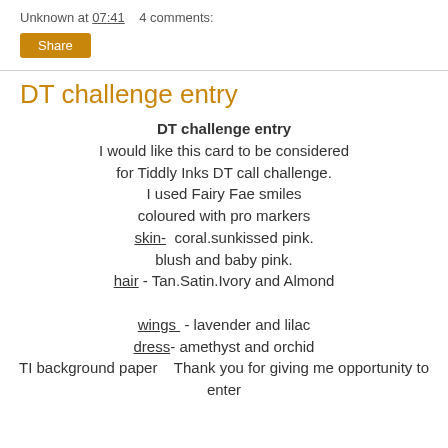Unknown at 07:41   4 comments:
Share
DT challenge entry
DT challenge entry
I would like this card to be considered for Tiddly Inks DT call challenge. I used Fairy Fae smiles coloured with pro markers skin- coral.sunkissed pink. blush and baby pink. hair - Tan.Satin.Ivory and Almond
wings - lavender and lilac
dress- amethyst and orchid
TI background paper   Thank you for giving me opportunity to enter